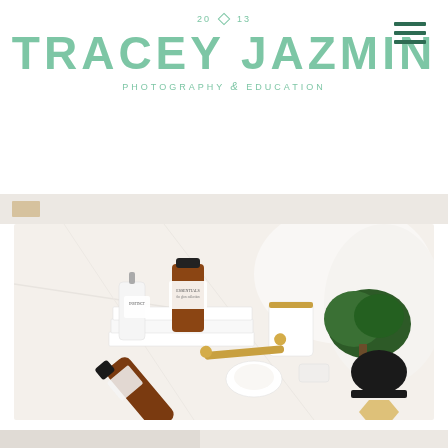20 13 TRACEY JAZMIN PHOTOGRAPHY & EDUCATION
[Figure (photo): Flatlay product photography on white marble surface featuring amber glass bottles with white labels, white ceramic mugs with gold rim, a small potted bonsai tree in a black pot on a gold hexagonal coaster, a gold face roller, small ceramic dishes, and stacked white books. White fluffy fabric in background.]
[Figure (photo): Partial view of another photo at bottom of page, cropped.]